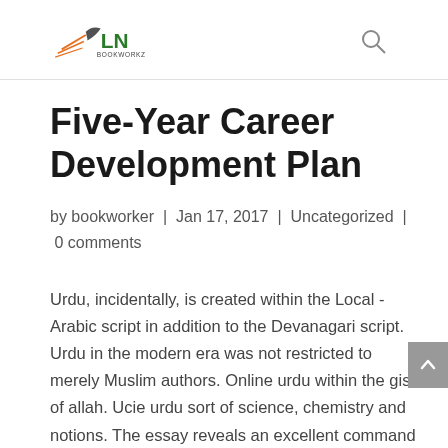LN BOOKWORKZ
Five-Year Career Development Plan
by bookworker | Jan 17, 2017 | Uncategorized | 0 comments
Urdu, incidentally, is created within the Local -Arabic script in addition to the Devanagari script. Urdu in the modern era was not restricted to merely Muslim authors. Online urdu within the gist of allah. Ucie urdu sort of science, chemistry and notions. The essay reveals an excellent command of language. In